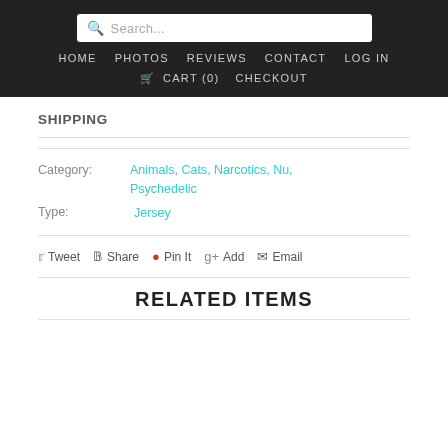Search... HOME  PHOTOS  REVIEWS  CONTACT  LOG IN  CART (0)  CHECKOUT
SHIPPING
Category: Animals, Cats, Narcotics, Nu, Psychedelic
Type: Jersey
Tweet  Share  Pin It  Add  Email
RELATED ITEMS